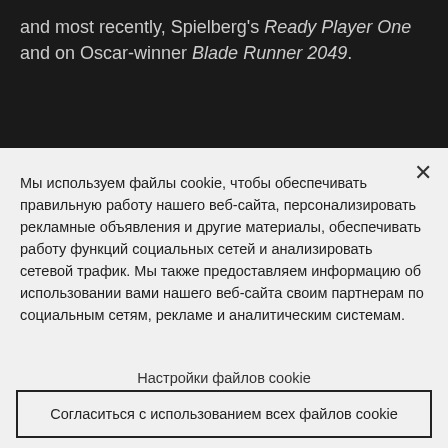and most recently, Spielberg's Ready Player One and on Oscar-winner Blade Runner 2049.
Мы используем файлы cookie, чтобы обеспечивать правильную работу нашего веб-сайта, персонализировать рекламные объявления и другие материалы, обеспечивать работу функций социальных сетей и анализировать сетевой трафик. Мы также предоставляем информацию об использовании вами нашего веб-сайта своим партнерам по социальным сетям, рекламе и аналитическим системам.
Настройки файлов cookie
Согласиться с использованием всех файлов cookie